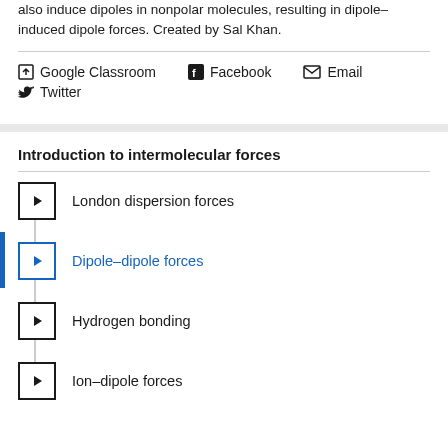also induce dipoles in nonpolar molecules, resulting in dipole–induced dipole forces. Created by Sal Khan.
Google Classroom
Facebook
Email
Twitter
Introduction to intermolecular forces
London dispersion forces
Dipole–dipole forces
Hydrogen bonding
Ion–dipole forces